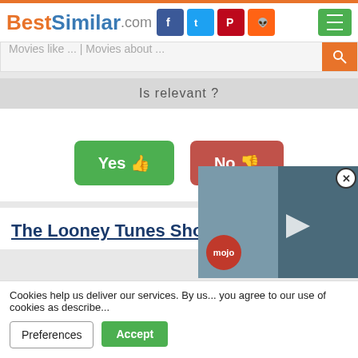BestSimilar.com
Movies like ... | Movies about ...
Is relevant ?
Yes 👍
No 👎
The Looney Tunes Show (2011)
[Figure (screenshot): Video overlay showing couple, with mojo badge]
Cookies help us deliver our services. By us... you agree to our use of cookies as describe...
Preferences
Accept